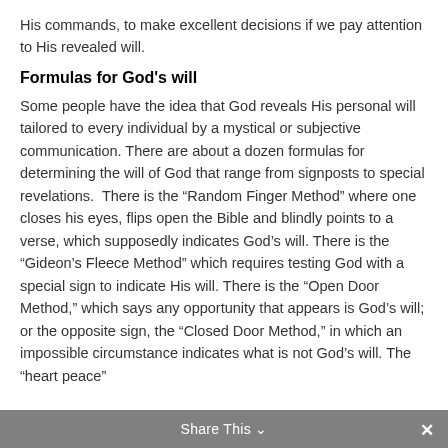His commands, to make excellent decisions if we pay attention to His revealed will.
Formulas for God's will
Some people have the idea that God reveals His personal will tailored to every individual by a mystical or subjective communication. There are about a dozen formulas for determining the will of God that range from signposts to special revelations. There is the “Random Finger Method” where one closes his eyes, flips open the Bible and blindly points to a verse, which supposedly indicates God’s will. There is the “Gideon’s Fleece Method” which requires testing God with a special sign to indicate His will. There is the “Open Door Method,” which says any opportunity that appears is God’s will; or the opposite sign, the “Closed Door Method,” in which an impossible circumstance indicates what is not God’s will. The “heart peace”
Share This ⌄